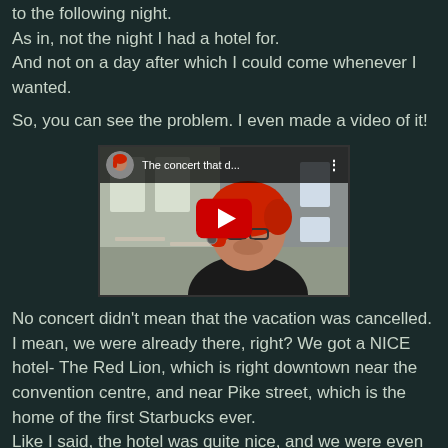to the following night.
As in, not the night I had a hotel for.
And not on a day after which I could come whenever I wanted.
So, you can see the problem. I even made a video of it!
[Figure (screenshot): YouTube video thumbnail showing a woman with red hair and glasses titled 'The concert that d...' with a red play button overlay]
No concert didn't mean that the vacation was cancelled. I mean, we were already there, right? We got a NICE hotel- The Red Lion, which is right downtown near the convention centre, and near Pike street, which is the home of the first Starbucks ever.
Like I said, the hotel was quite nice, and we were even